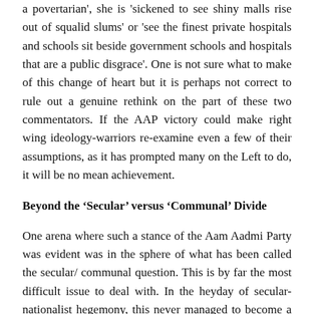a povertarian', she is 'sickened to see shiny malls rise out of squalid slums' or 'see the finest private hospitals and schools sit beside government schools and hospitals that are a public disgrace'. One is not sure what to make of this change of heart but it is perhaps not correct to rule out a genuine rethink on the part of these two commentators. If the AAP victory could make right wing ideology-warriors re-examine even a few of their assumptions, as it has prompted many on the Left to do, it will be no mean achievement.
Beyond the ‘Secular’ versus ‘Communal’ Divide
One arena where such a stance of the Aam Aadmi Party was evident was in the sphere of what has been called the secular/ communal question. This is by far the most difficult issue to deal with. In the heyday of secular-nationalist hegemony, this never managed to become a politically or electorally salient issue. But since the mid-1980s, and